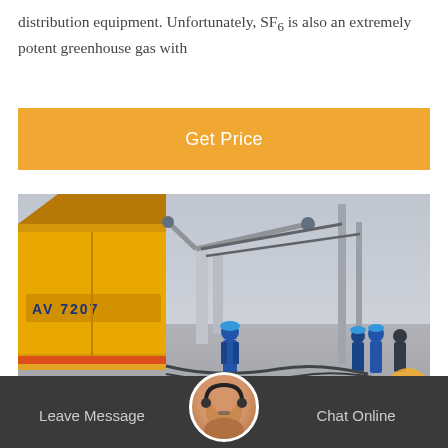distribution equipment. Unfortunately, SF6 is also an extremely potent greenhouse gas with
[Figure (other): Orange 'Get Price' button bar with white text on orange background]
[Figure (photo): Industrial electrical substation scene with yellow utility truck (marked AV 7207), workers in blue uniforms and hard hats, large power transformer/switchgear equipment, and overhead power line structures. Snowy or dusty ground conditions.]
Leave Message  Chat Online